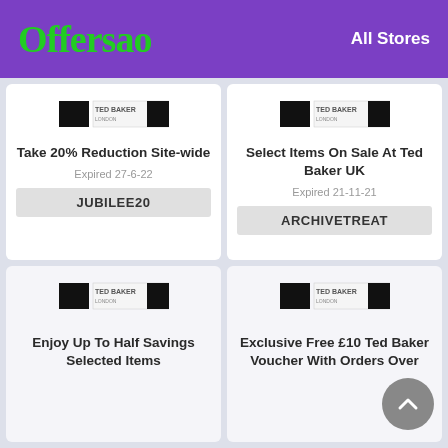Offersao   All Stores
[Figure (logo): Ted Baker London store logo - top left card]
Take 20% Reduction Site-wide
Expired 27-6-22
JUBILEE20
[Figure (logo): Ted Baker London store logo - top right card]
Select Items On Sale At Ted Baker UK
Expired 21-11-21
ARCHIVETREAT
[Figure (logo): Ted Baker London store logo - bottom left card]
Enjoy Up To Half Savings Selected Items
[Figure (logo): Ted Baker London store logo - bottom right card]
Exclusive Free £10 Ted Baker Voucher With Orders Over...